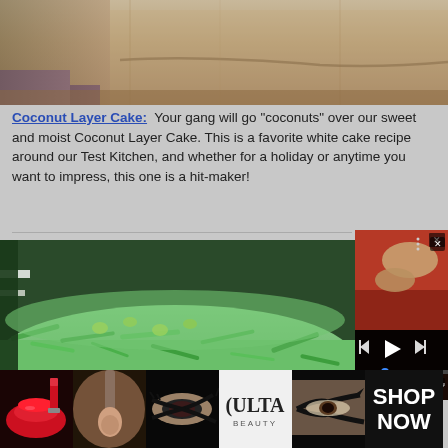[Figure (photo): Close-up of coconut layer cake top, textured beige/tan surface with coconut shreds, partial view]
Coconut Layer Cake: Your gang will go "coconuts" over our sweet and moist Coconut Layer Cake. This is a favorite white cake recipe around our Test Kitchen, and whether for a holiday or anytime you want to impress, this one is a hit-maker!
[Figure (photo): Coconut layer cake decorated with green coconut shreds and small candies on a plate]
[Figure (screenshot): Mr. Food Test Kitchen video player overlay showing hands preparing food, with playback controls]
[Figure (photo): ULTA beauty advertisement banner showing makeup images and SHOP NOW call to action]